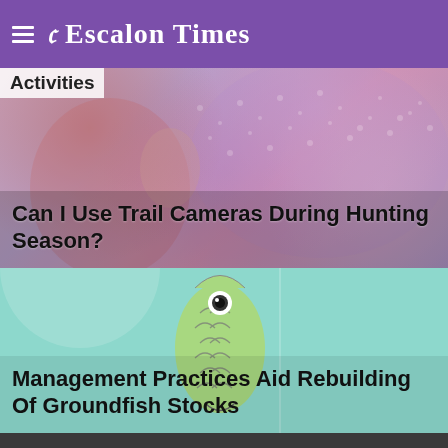Escalon Times
Activities
[Figure (photo): Photo of a person in a colorful sequined/beaded costume with decorative pattern, used as background for article about trail cameras during hunting season]
Can I Use Trail Cameras During Hunting Season?
[Figure (illustration): Cartoon illustration of a fish (green color, with scales and circular eye) on a light teal/mint background, used for article about groundfish stocks]
Management Practices Aid Rebuilding Of Groundfish Stocks
[Figure (photo): Dark gray/charcoal colored panel at the bottom of the page]